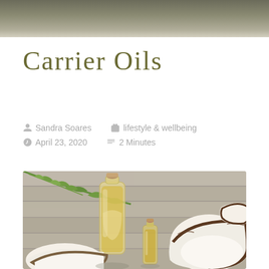[Figure (photo): Dark olive/khaki header banner image at the top of the page]
Carrier Oils
Sandra Soares   lifestyle & wellbeing   April 23, 2020   2 Minutes
[Figure (photo): Photo of coconut oil in glass bottles with coconuts and a palm leaf on a wooden background]